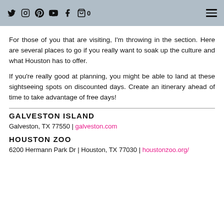Social media icons and navigation menu
For those of you that are visiting, I'm throwing in the section. Here are several places to go if you really want to soak up the culture and what Houston has to offer.
If you're really good at planning, you might be able to land at these sightseeing spots on discounted days. Create an itinerary ahead of time to take advantage of free days!
GALVESTON ISLAND
Galveston, TX 77550 | galveston.com
HOUSTON ZOO
6200 Hermann Park Dr | Houston, TX 77030 | houstonzoo.org/